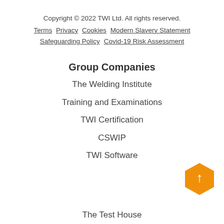Copyright © 2022 TWI Ltd. All rights reserved.
Terms  Privacy  Cookies  Modern Slavery Statement  Safeguarding Policy  Covid-19 Risk Assessment
Group Companies
The Welding Institute
Training and Examinations
TWI Certification
CSWIP
TWI Software
The Test House